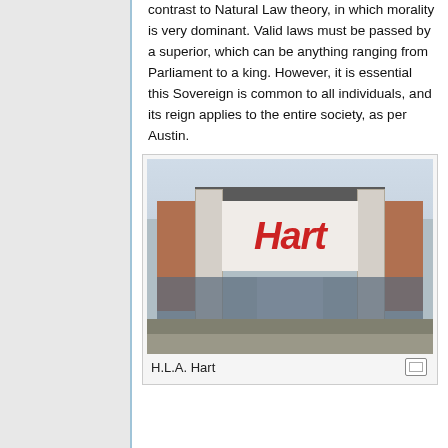contrast to Natural Law theory, in which morality is very dominant. Valid laws must be passed by a superior, which can be anything ranging from Parliament to a king. However, it is essential this Sovereign is common to all individuals, and its reign applies to the entire society, as per Austin.
[Figure (photo): Photograph of a Hart store exterior, showing the building facade with a large red 'Hart' sign, brick sections on the sides, and glass doors at the entrance.]
H.L.A. Hart